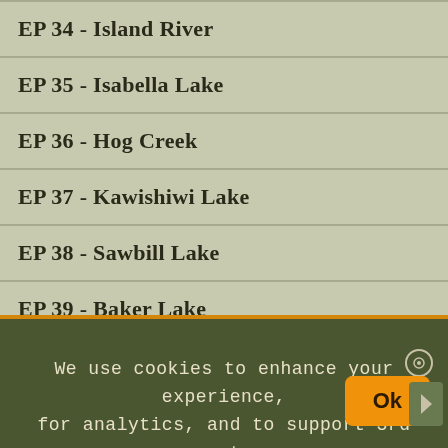EP 34 - Island River
EP 35 - Isabella Lake
EP 36 - Hog Creek
EP 37 - Kawishiwi Lake
EP 38 - Sawbill Lake
EP 39 - Baker Lake
EP 40 - Homer Lake
EP 41 - Brule Lake
EP 45
EP 46
EP 50 - Cross Bay Lake
We use cookies to enhance your experience, for analytics, and to support 3rd party content and advertising providers. If you continue using this website, you agree to our privacy and legal agreement.
Ok